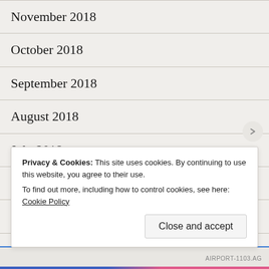November 2018
October 2018
September 2018
August 2018
July 2018
June 2018
May 2018
April 2018
March 2018
F...
Privacy & Cookies: This site uses cookies. By continuing to use this website, you agree to their use.
To find out more, including how to control cookies, see here: Cookie Policy
AIRPORT-1103.AG